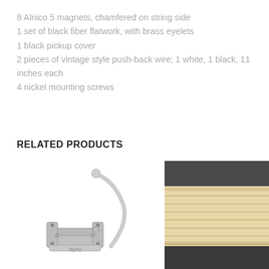8 Alnico 5 magnets, chamfered on string side
1 set of black fiber flatwork, with brass eyelets
1 black pickup cover
2 pieces of vintage style push-back wire; 1 white, 1 black, 11 inches each
4 nickel mounting screws
RELATED PRODUCTS
[Figure (photo): Chrome Bigsby-style tremolo tailpiece with arm/handle on white background]
[Figure (photo): Close-up photo of cream/ivory colored pickup bobbin flatwork showing ridged plastic surface against dark background]